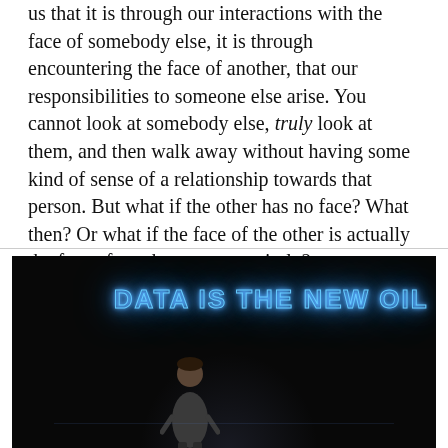us that it is through our interactions with the face of somebody else, it is through encountering the face of another, that our responsibilities to someone else arise. You cannot look at somebody else, truly look at them, and then walk away without having some kind of sense of a relationship towards that person. But what if the other has no face? What then? Or what if the face of the other is actually the face of another person entirely?
[Figure (photo): A person standing on a dark stage speaking, with a large neon sign in the background reading 'DATA IS THE NEW OIL' in glowing blue letters.]